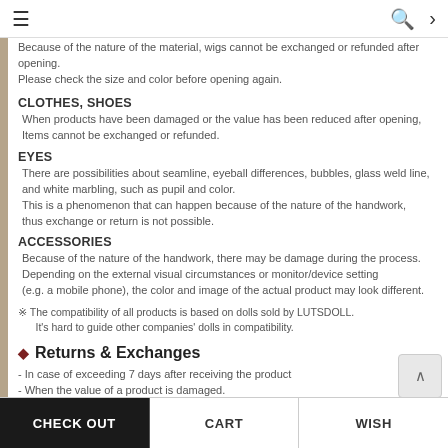≡  🔍  ›
Because of the nature of the material, wigs cannot be exchanged or refunded after opening.
Please check the size and color before opening again.
CLOTHES, SHOES
When products have been damaged or the value has been reduced after opening, items cannot be exchanged or refunded.
EYES
There are possibilities about seamline, eyeball differences, bubbles, glass weld line, and white marbling, such as pupil and color.
This is a phenomenon that can happen because of the nature of the handwork, thus exchange or return is not possible.
ACCESSORIES
Because of the nature of the handwork, there may be damage during the process. Depending on the external visual circumstances or monitor/device setting (e.g. a mobile phone), the color and image of the actual product may look different.
※ The compatibility of all products is based on dolls sold by LUTSDOLL.
      It's hard to guide other companies' dolls in compatibility.
♦ Returns & Exchanges
- In case of exceeding 7 days after receiving the product
- When the value of a product is damaged.
  (Released products, customized dolls, damage to gifts, damage to components such as clothes, makeup, etc.)
CHECK OUT    CART    WISH